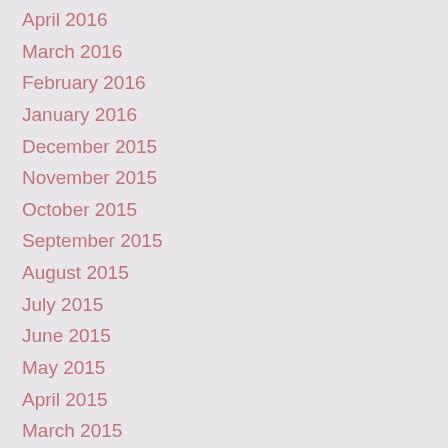April 2016
March 2016
February 2016
January 2016
December 2015
November 2015
October 2015
September 2015
August 2015
July 2015
June 2015
May 2015
April 2015
March 2015
February 2015
January 2015
December 2014
November 2014
October 2014